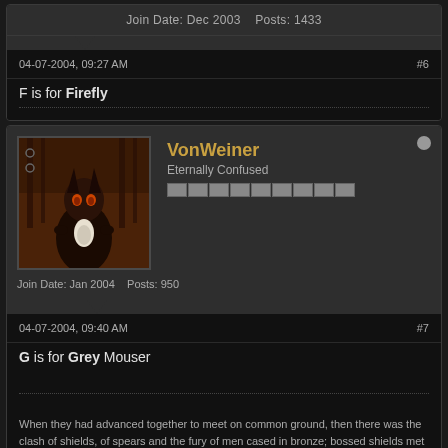Join Date: Dec 2003    Posts: 1433
04-07-2004, 09:27 AM
#6
F is for Firefly
VonWeiner
Eternally Confused
Join Date: Jan 2004    Posts: 950
04-07-2004, 09:40 AM
#7
G is for Grey Mouser
When they had advanced together to meet on common ground, then there was the clash of shields, of spears and the fury of men cased in bronze; bossed shields met each other and the din rose loud. Then there were mingled the groaning and the crowing of men killed and